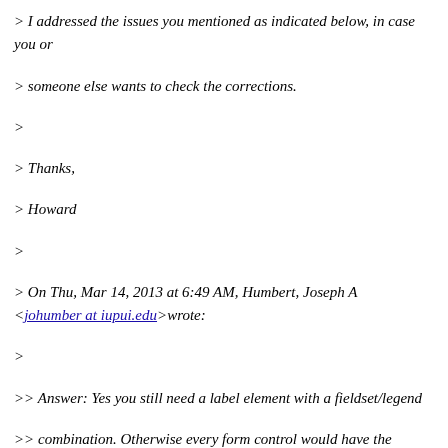> I addressed the issues you mentioned as indicated below, in case you or
> someone else wants to check the corrections.
>
> Thanks,
> Howard
>
> On Thu, Mar 14, 2013 at 6:49 AM, Humbert, Joseph A <johumber at iupui.edu>wrote:
>
>> Answer: Yes you still need a label element with a fieldset/legend
>> combination. Otherwise every form control would have the same label.****
>>